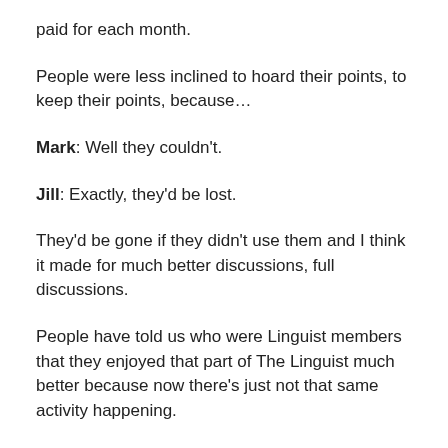paid for each month.
People were less inclined to hoard their points, to keep their points, because…
Mark: Well they couldn't.
Jill: Exactly, they'd be lost.
They'd be gone if they didn't use them and I think it made for much better discussions, full discussions.
People have told us who were Linguist members that they enjoyed that part of The Linguist much better because now there's just not that same activity happening.
Mark: Absolutely.